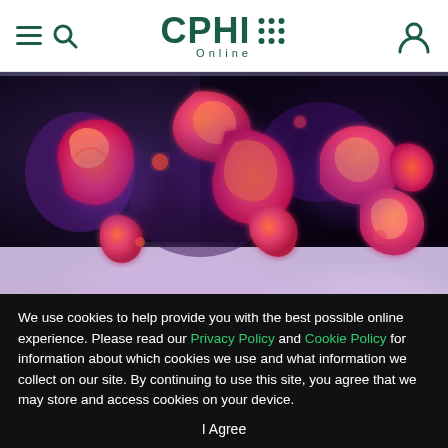CPHI Online
[Figure (photo): Microscopic view of pharmaceutical particles or microorganisms, rendered with fluorescent colors — red/orange shapes against a dark purple/black background, transitioning to a blurred lavender/pink lower section.]
We use cookies to help provide you with the best possible online experience. Please read our Privacy Policy and Cookie Policy for information about which cookies we use and what information we collect on our site. By continuing to use this site, you agree that we may store and access cookies on your device.
I Agree